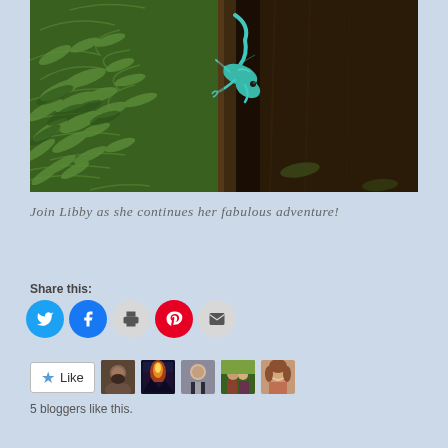[Figure (photo): Close-up photo of a green/teal lizard (anole) climbing on a dark wooden surface with green fern leaves in the background]
Join Libby as she continues her fabulous adventure!
Share this:
[Figure (infographic): Row of social share buttons: Twitter (blue), Facebook (blue), Print (gray), Pinterest (red), Email (gray)]
[Figure (infographic): Like button with star icon and 5 blogger avatar thumbnails]
5 bloggers like this.